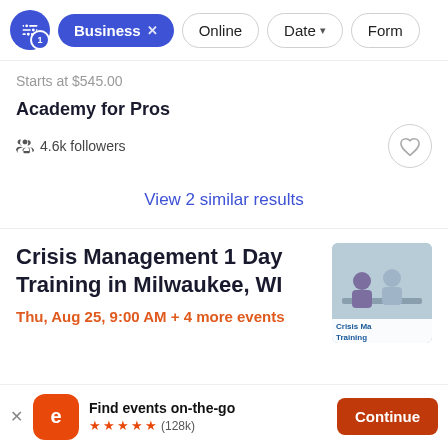[Figure (screenshot): Filter bar with slider icon button (badge 1), active 'Business x' pill, 'Online' pill, 'Date v' pill, 'Form' pill (cut off)]
Starts at $545.00
Academy for Pros
4.6k followers
View 2 similar results
Crisis Management 1 Day Training in Milwaukee, WI
Thu, Aug 25, 9:00 AM + 4 more events
Find events on-the-go ★★★★★ (128k)
Continue